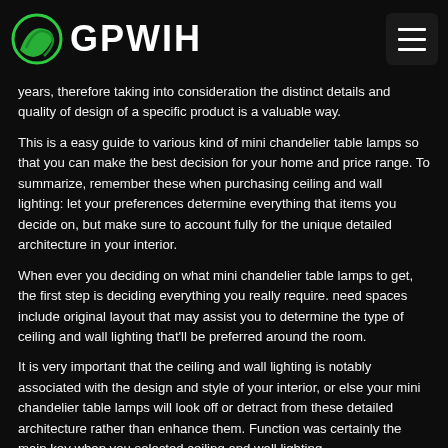GPWIH
years, therefore taking into consideration the distinct details and quality of design of a specific product is a valuable way.
This is a easy guide to various kind of mini chandelier table lamps so that you can make the best decision for your home and price range. To summarize, remember these when purchasing ceiling and wall lighting: let your preferences determine everything that items you decide on, but make sure to account fully for the unique detailed architecture in your interior.
When ever you deciding on what mini chandelier table lamps to get, the first step is deciding everything you really require. need spaces include original layout that may assist you to determine the type of ceiling and wall lighting that'll be preferred around the room.
It is very important that the ceiling and wall lighting is notably associated with the design and style of your interior, or else your mini chandelier table lamps will look off or detract from these detailed architecture rather than enhance them. Function was certainly the main key when you selected ceiling and wall lighting,